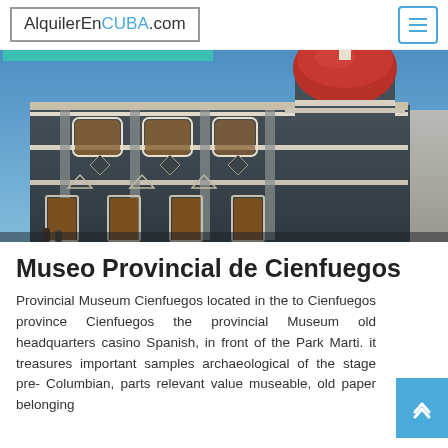AlquilerEnCUBA.com
[Figure (photo): Facade of the Museo Provincial de Cienfuegos, a large neoclassical building with a prominent red dome, dark grey exterior with white ornamental details, and wooden doors. Blue sky in background.]
Museo Provincial de Cienfuegos
Provincial Museum Cienfuegos located in the town Cienfuegos province Cienfuegos the provincial Museum old headquarters casino Spanish, in front of the Park Marti. it treasures important samples archaeological of the stage pre-Columbian, parts relevant value museable, old paper belonging